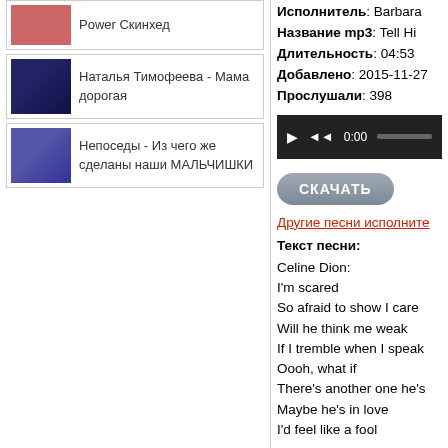Power Скинхед
Наталья Тимофеева - Мама дорогая
Непоседы - Из чего же сделаны наши МАЛЬЧИШКИ
Исполнитель: Barbara
Название mp3: Tell Hi
Длительность: 04:53
Добавлено: 2015-11-27
Прослушали: 398
[Figure (screenshot): Audio player bar with play, rewind buttons, time 0:00 and progress bar]
СКАЧАТЬ
Другие песни исполните
Текст песни:
Celine Dion:
I'm scared
So afraid to show I care
Will he think me weak
If I tremble when I speak
Oooh, what if
There's another one he's
Maybe he's in love
I'd feel like a fool